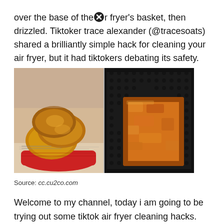over the base of the [X] r fryer's basket, then drizzled. Tiktoker trace alexander (@tracesoats) shared a brilliantly simple hack for cleaning your air fryer, but it had tiktokers debating its safety.
[Figure (photo): Two food images side by side: left shows French toast slices in a red basket on newspaper-lined tray; right shows a grilled cheese sandwich in a dark air fryer basket.]
Source: cc.cu2co.com
Welcome to my channel, today i am going to be trying out some tiktok air fryer cleaning hacks. Fill you air fryer with soapy water.